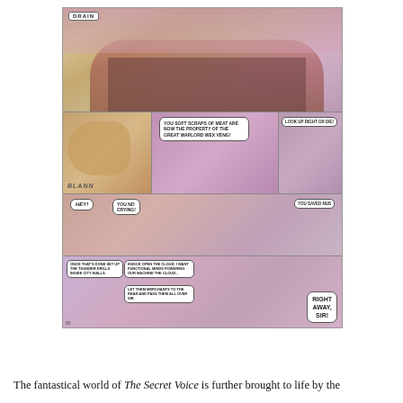[Figure (illustration): A page from the graphic novel 'The Secret Voice' showing four rows of comic panels. Panel 1 (top, full width): wide establishing shot of a fantastical walled city labeled 'DRAIN' with a pink/purple sky and desert landscape. Panel row 2 (three panels): left panel shows a large arm/fist; middle panel has a speech bubble 'YOU SOFT SCRAPS OF MEAT ARE NOW THE PROPERTY OF THE GREAT WARLORD WEX VENG!'; right panel has 'LOOK UP RIGHT OR DIET'. Panel row 3: A character says 'HEY! YOU NO CRYING!' with another speech bubble 'YOU SAVED NUS'. Panel row 4 (bottom, full width): larger panel with characters, speech bubbles reading 'ONCE THAT'S DONE SET UP THE THUNDER DRILLS INSIDE CITY WALLS.', 'KNOCK OPEN THE CLOUD. I WANT FUNCTIONAL MINDS POWERING OUR MACHINE THE CLOUD...', 'LET THEM MERCHANTS TO THE REAR AND PASS THEM ALL OVER SIR.' and 'RIGHT AWAY, SIR!']
The fantastical world of The Secret Voice is further brought to life by the